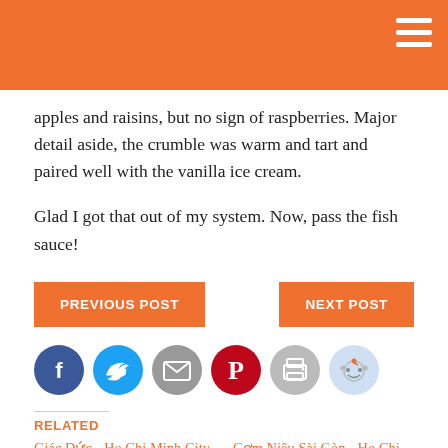apples and raisins, but no sign of raspberries. Major detail aside, the crumble was warm and tart and paired well with the vanilla ice cream.
Glad I got that out of my system. Now, pass the fish sauce!
[Figure (other): Navigation buttons: PREVIOUS POST (orange) and NEXT POST (orange)]
[Figure (other): Social share icons: Facebook (blue), Twitter (light blue), Email (gray), Pinterest (red), Print (light gray), Reddit (light blue)]
RELATED
Giác Đức - Ho Chi Minh City
September 18-20, 2007
Cuisine: Vietnamese, Vegetarian, 403 Nguyen Dinh
Cơm Niêu Sài Gòn - Ho Chi Minh City
January 9, 2008 Cuisine: Vietnamese 6C Tu Xuong